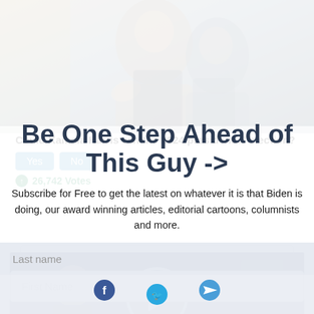[Figure (photo): Background photo showing people (appears to be political figures) at top of page, partially visible]
Could Kamala Harris win the 2024 presidential election?
Yes  No
26,742 Votes
Be One Step Ahead of This Guy ->
Subscribe for Free to get the latest on whatever it is that Biden is doing, our award winning articles, editorial cartoons, columnists and more.
Email
[Figure (screenshot): Video thumbnail with play button showing a person in a studio/news setting]
First Name
Last name
[Figure (infographic): Social sharing bar with Facebook, Twitter, and send icons at the bottom]